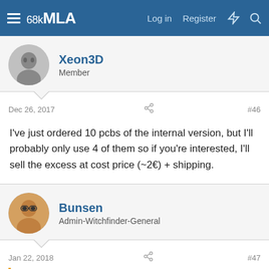68kMLA — Log in  Register
[Figure (screenshot): Forum avatar of user Xeon3D, circular grayscale photo of a person]
Xeon3D
Member
Dec 26, 2017    #46
I've just ordered 10 pcbs of the internal version, but I'll probably only use 4 of them so if you're interested, I'll sell the excess at cost price (~2€) + shipping.
[Figure (photo): Forum avatar of user Bunsen, circular photo of a person with glasses]
Bunsen
Admin-Witchfinder-General
Jan 22, 2018    #47
defor said: ↑
I personally wouldn't even have bothered supporting the zero,